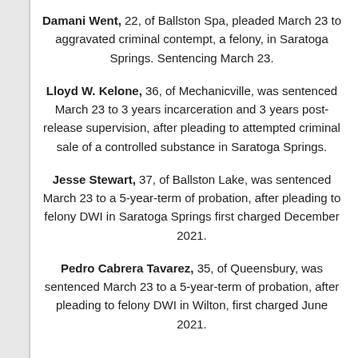Damani Went, 22, of Ballston Spa, pleaded March 23 to aggravated criminal contempt, a felony, in Saratoga Springs. Sentencing March 23.
Lloyd W. Kelone, 36, of Mechanicville, was sentenced March 23 to 3 years incarceration and 3 years post-release supervision, after pleading to attempted criminal sale of a controlled substance in Saratoga Springs.
Jesse Stewart, 37, of Ballston Lake, was sentenced March 23 to a 5-year-term of probation, after pleading to felony DWI in Saratoga Springs first charged December 2021.
Pedro Cabrera Tavarez, 35, of Queensbury, was sentenced March 23 to a 5-year-term of probation, after pleading to felony DWI in Wilton, first charged June 2021.